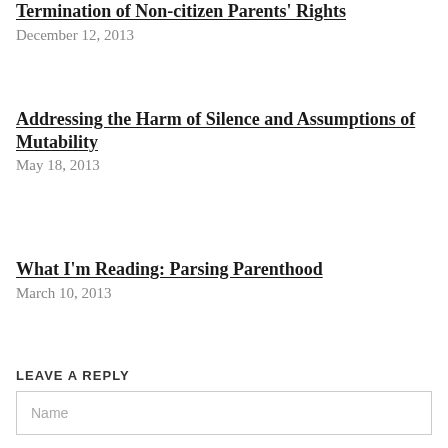Termination of Non-citizen Parents' Rights
December 12, 2013
Addressing the Harm of Silence and Assumptions of Mutability
May 18, 2013
What I'm Reading: Parsing Parenthood
March 10, 2013
LEAVE A REPLY
Name